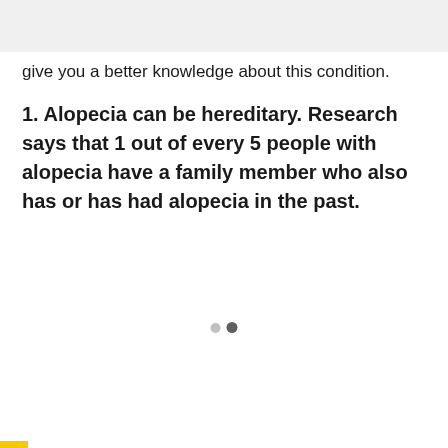give you a better knowledge about this condition.
1. Alopecia can be hereditary. Research says that 1 out of every 5 people with alopecia have a family member who also has or has had alopecia in the past.